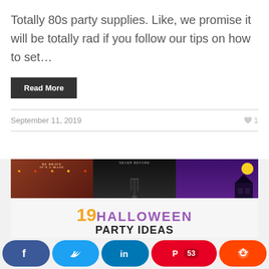Totally 80s party supplies. Like, we promise it will be totally rad if you follow our tips on how to set…
Read More
September 11, 2019
♥ 1
[Figure (photo): Collage of Halloween party setups with text overlay reading '19 HALLOWEEN PARTY IDEAS']
Social share buttons: Facebook, Twitter, LinkedIn, Pinterest (53), Reddit